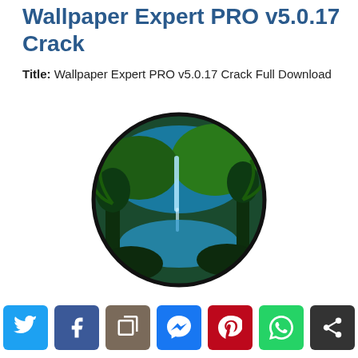Wallpaper Expert PRO v5.0.17 Crack
Title: Wallpaper Expert PRO v5.0.17 Crack Full Download
[Figure (illustration): Circular image showing a lush tropical jungle scene with a waterfall, palm trees, and a reflective pool, displayed as an app icon style circle with dark border.]
Author: HDW
Version: 5.0.17
[Figure (infographic): Social sharing bar with seven buttons: Twitter (blue), Facebook (dark blue), Copy (brown), Messenger (blue), Pinterest (red), WhatsApp (green), Share (dark gray).]